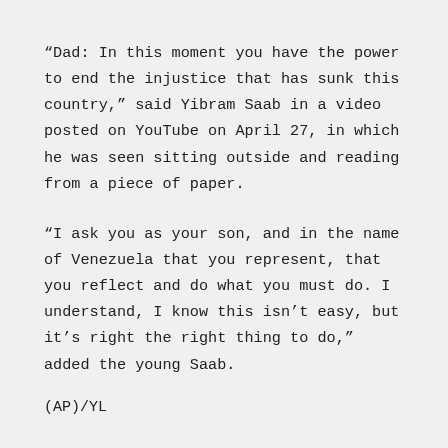“Dad: In this moment you have the power to end the injustice that has sunk this country,” said Yibram Saab in a video posted on YouTube on April 27, in which he was seen sitting outside and reading from a piece of paper.
“I ask you as your son, and in the name of Venezuela that you represent, that you reflect and do what you must do. I understand, I know this isn’t easy, but it’s right the right thing to do,” added the young Saab.
(AP)/YL